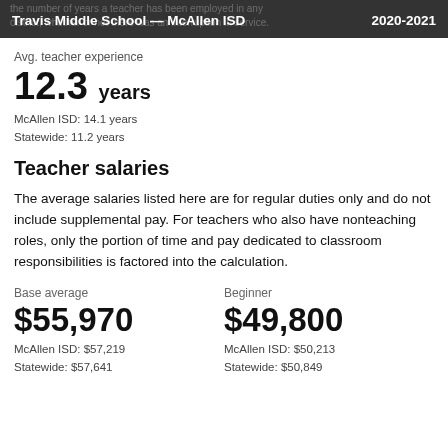Travis Middle School — McAllen ISD   2020-2021
Avg. teacher experience
12.3 years
McAllen ISD: 14.1 years
Statewide: 11.2 years
Teacher salaries
The average salaries listed here are for regular duties only and do not include supplemental pay. For teachers who also have nonteaching roles, only the portion of time and pay dedicated to classroom responsibilities is factored into the calculation.
Base average
$55,970
McAllen ISD: $57,219
Statewide: $57,641
Beginner
$49,800
McAllen ISD: $50,213
Statewide: $50,849